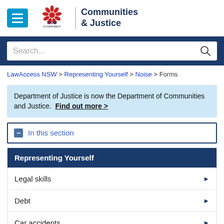[Figure (logo): NSW Government Communities & Justice logo with menu button]
Search...
LawAccess NSW > Representing Yourself > Noise > Forms
Department of Justice is now the Department of Communities and Justice. Find out more >
In this section
Representing Yourself
Legal skills
Debt
Car accidents